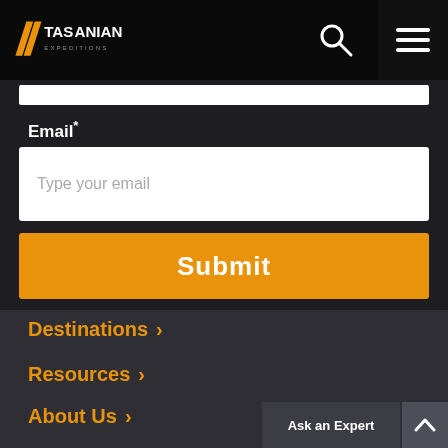Tasmanian Expeditions - navigation bar with logo, search icon, and menu icon
Email*
Type your email
Submit
Destinations >
Resources >
About Us >
Ask an Expert